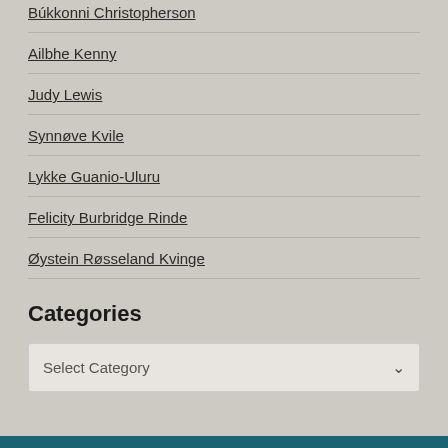Ailbhe Kenny
Judy Lewis
Synnøve Kvile
Lykke Guanio-Uluru
Felicity Burbridge Rinde
Øystein Røsseland Kvinge
Categories
Select Category